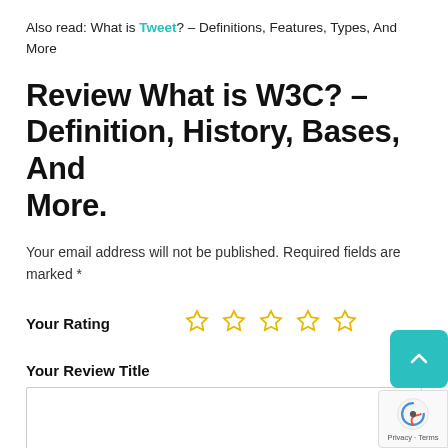Also read: What is Tweet? – Definitions, Features, Types, And More
Review What is W3C? – Definition, History, Bases, And More.
Your email address will not be published. Required fields are marked *
Your Rating (5 empty stars)
Your Review Title
Your Review *